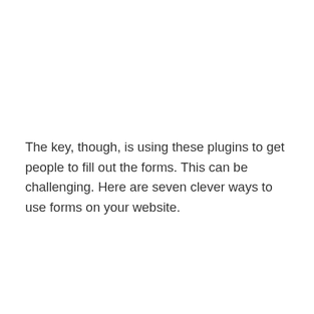The key, though, is using these plugins to get people to fill out the forms. This can be challenging. Here are seven clever ways to use forms on your website.